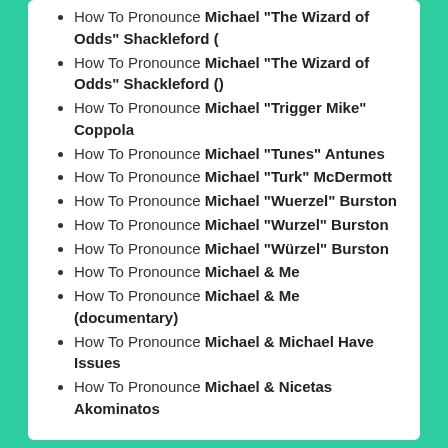How To Pronounce Michael "The Wizard of Odds" Shackleford (
How To Pronounce Michael "The Wizard of Odds" Shackleford ()
How To Pronounce Michael "Trigger Mike" Coppola
How To Pronounce Michael "Tunes" Antunes
How To Pronounce Michael "Turk" McDermott
How To Pronounce Michael "Wuerzel" Burston
How To Pronounce Michael "Wurzel" Burston
How To Pronounce Michael "Würzel" Burston
How To Pronounce Michael & Me
How To Pronounce Michael & Me (documentary)
How To Pronounce Michael & Michael Have Issues
How To Pronounce Michael & Nicetas Akominatos